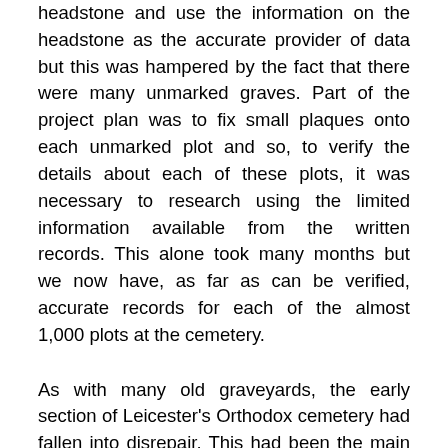headstone and use the information on the headstone as the accurate provider of data but this was hampered by the fact that there were many unmarked graves. Part of the project plan was to fix small plaques onto each unmarked plot and so, to verify the details about each of these plots, it was necessary to research using the limited information available from the written records. This alone took many months but we now have, as far as can be verified, accurate records for each of the almost 1,000 plots at the cemetery.
As with many old graveyards, the early section of Leicester's Orthodox cemetery had fallen into disrepair. This had been the main impetus for us to carry out the project. We couldn't allow the stones, and indeed the lives behind those stones, to be lost forever. It has not been possible to repair each stone but, as well as recording all